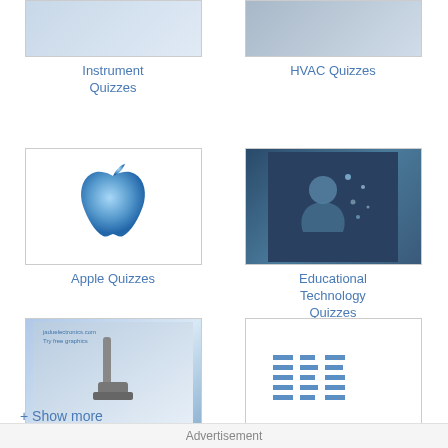[Figure (photo): Instrument Quizzes thumbnail image]
Instrument Quizzes
[Figure (photo): HVAC Quizzes thumbnail image]
HVAC Quizzes
[Figure (logo): Apple logo on white background]
Apple Quizzes
[Figure (photo): Educational Technology Quizzes - tech/digital imagery]
Educational Technology Quizzes
[Figure (photo): Wireless Quizzes - wireless antenna/probe on blue background]
Wireless Quizzes
[Figure (logo): IBM logo in blue stripes on white background]
IBM Quizzes
+ Show more
Advertisement